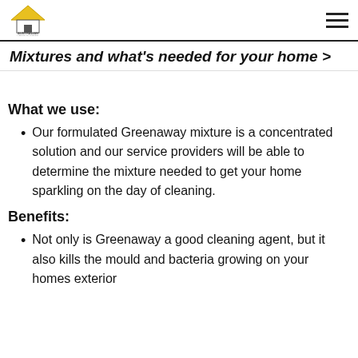Australian [logo]
Mixtures and what's needed for your home >
What we use:
Our formulated Greenaway mixture is a concentrated solution and our service providers will be able to determine the mixture needed to get your home sparkling on the day of cleaning.
Benefits:
Not only is Greenaway a good cleaning agent, but it also kills the mould and bacteria growing on your homes exterior